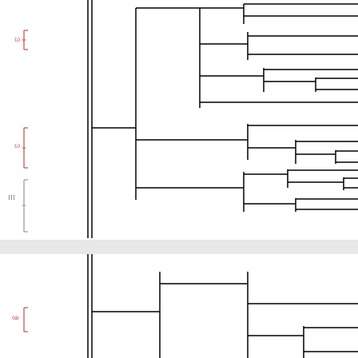[Figure (other): Phylogenetic tree (cladogram) shown cropped, with black dendrogram lines on white background. Left margin contains partial red/salmon colored scale bar or annotation markers. The tree is split into two panels separated by a gray horizontal band. Upper panel shows a large branching dendrogram with multiple nested clades extending to the right edge. Lower panel shows the base of another tree with branches beginning to split.]